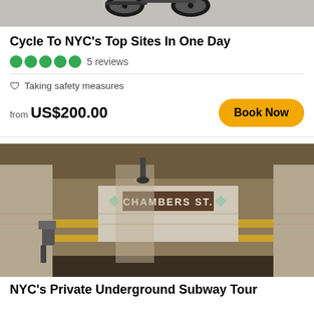[Figure (photo): Top portion of a bicycle against a light background, showing handlebars and wheels]
Cycle To NYC's Top Sites In One Day
●●●●● 5 reviews
🛡 Taking safety measures
from US$200.00
[Figure (photo): Interior of Chambers St. subway station showing weathered tiled walls with 'CHAMBERS ST.' sign, columns, and empty platform]
NYC's Private Underground Subway Tour